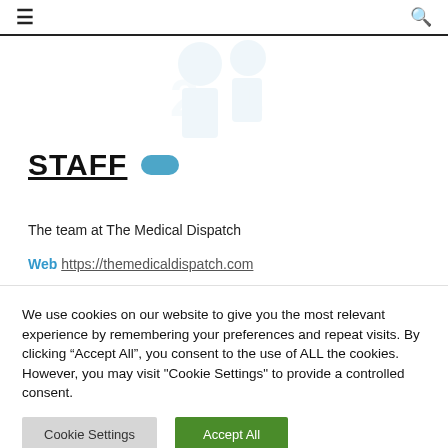≡  🔍
[Figure (illustration): Faint watermark-style illustration of a medical figure (person outline) in light gray/blue tones on white background]
STAFF
The team at The Medical Dispatch
Web https://themedicaldispatch.com
We use cookies on our website to give you the most relevant experience by remembering your preferences and repeat visits. By clicking "Accept All", you consent to the use of ALL the cookies. However, you may visit "Cookie Settings" to provide a controlled consent.